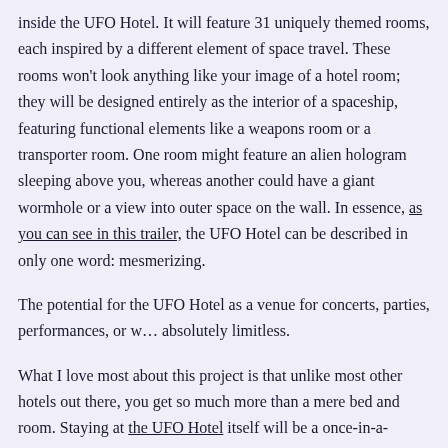inside the UFO Hotel. It will feature 31 uniquely themed rooms, each inspired by a different element of space travel. These rooms won't look anything like your image of a hotel room; they will be designed entirely as the interior of a spaceship, featuring functional elements like a weapons room or a transporter room. One room might feature an alien hologram sleeping above you, whereas another could have a giant wormhole or a view into outer space on the wall. In essence, as you can see in this trailer, the UFO Hotel can be described in only one word: mesmerizing.
The potential for the UFO Hotel as a venue for concerts, parties, performances, or w... absolutely limitless.
What I love most about this project is that unlike most other hotels out there, you get so much more than a mere bed and room. Staying at the UFO Hotel itself will be a once-in-a-lifetime experience: a place that any visitor, whether they're a science fiction lover, a family, or just someone who likes stunning architecture, will marvel at and drool over. Moreover, the UFO Hotel is so much more than a mere hotel. It has the perfect facilities to hold concerts, performances, parties, weddings, and even to build other structures that are out of this world.